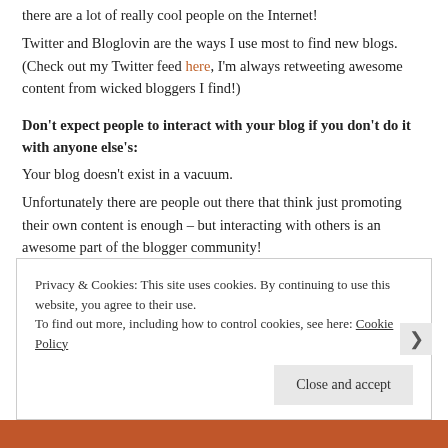there are a lot of really cool people on the Internet!
Twitter and Bloglovin are the ways I use most to find new blogs. (Check out my Twitter feed here, I'm always retweeting awesome content from wicked bloggers I find!)
Don't expect people to interact with your blog if you don't do it with anyone else's:
Your blog doesn't exist in a vacuum.
Unfortunately there are people out there that think just promoting their own content is enough – but interacting with others is an awesome part of the blogger community!
The best way to do this is read, read and read some more! And if you like what you see, let them know!
Privacy & Cookies: This site uses cookies. By continuing to use this website, you agree to their use.
To find out more, including how to control cookies, see here: Cookie Policy